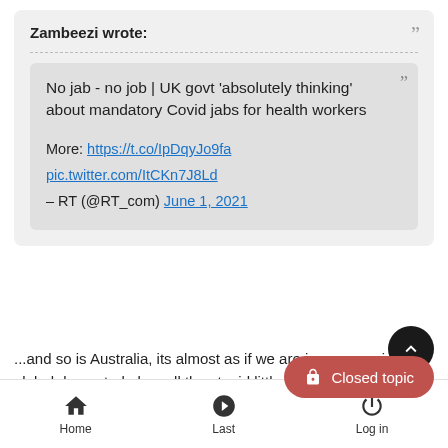Zambeezi wrote:
No jab - no job | UK govt ‘absolutely thinking’ about mandatory Covid jabs for health workers

More: https://t.co/IpDqyJo9fa
pic.twitter.com/ItCKn7J8Ld
– RT (@RT_com) June 1, 2021
...and so is Australia, its almost as if we are in some scripted global demented play- all the stupid little pr say in this together','build back better' also 'sponta worlds media at the same time....the Bible does discuss one
[Figure (other): Scroll-to-top button (dark circle with chevron up icon)]
[Figure (other): Closed topic button (red rounded rectangle with lock icon and text 'Closed topic')]
Home   Last   Log in